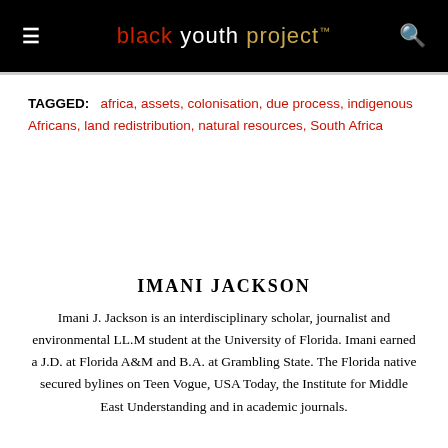black youth project™
TAGGED: africa, assets, colonisation, due process, indigenous Africans, land redistribution, natural resources, South Africa
IMANI JACKSON
Imani J. Jackson is an interdisciplinary scholar, journalist and environmental LL.M student at the University of Florida. Imani earned a J.D. at Florida A&M and B.A. at Grambling State. The Florida native secured bylines on Teen Vogue, USA Today, the Institute for Middle East Understanding and in academic journals.